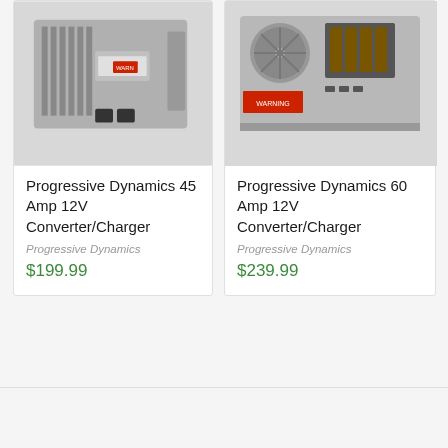[Figure (photo): Photo of Progressive Dynamics 45 Amp 12V Converter/Charger device, metallic gray with heat sink and connectors]
Progressive Dynamics 45 Amp 12V Converter/Charger
Progressive Dynamics
$199.99
[Figure (photo): Photo of Progressive Dynamics 60 Amp 12V Converter/Charger device, metallic gray with fan and terminal connectors]
Progressive Dynamics 60 Amp 12V Converter/Charger
Progressive Dynamics
$239.99